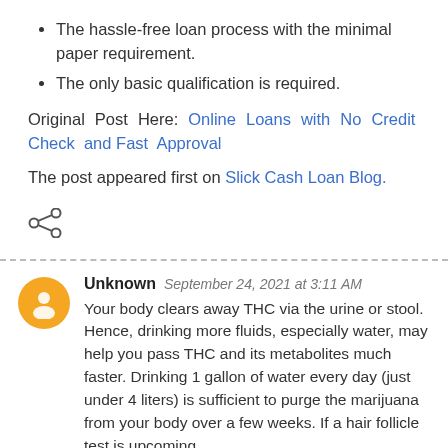The hassle-free loan process with the minimal paper requirement.
The only basic qualification is required.
Original Post Here: Online Loans with No Credit Check and Fast Approval
The post appeared first on Slick Cash Loan Blog.
[Figure (other): Share icon (three connected circles)]
Unknown  September 24, 2021 at 3:11 AM
Your body clears away THC via the urine or stool. Hence, drinking more fluids, especially water, may help you pass THC and its metabolites much faster. Drinking 1 gallon of water every day (just under 4 liters) is sufficient to purge the marijuana from your body over a few weeks. If a hair follicle test is upcoming